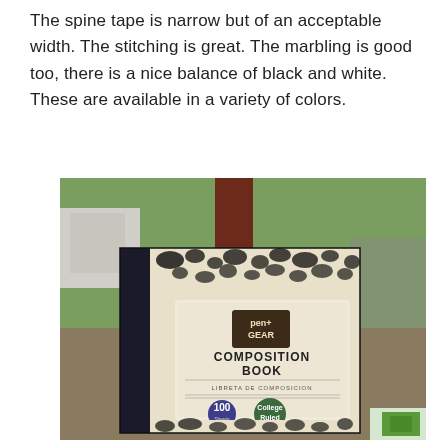The spine tape is narrow but of an acceptable width. The stitching is great. The marbling is good too, there is a nice balance of black and white. These are available in a variety of colors.
[Figure (photo): A photograph of a pen+GEAR Composition Book with classic black and white marbled cover, showing the label which reads 'COMPOSITION BOOK / LIBRETA DE COMPOSICION / 100 Sheets / College Ruled'. The notebook is photographed outdoors against a background of green foliage and a dark red post.]